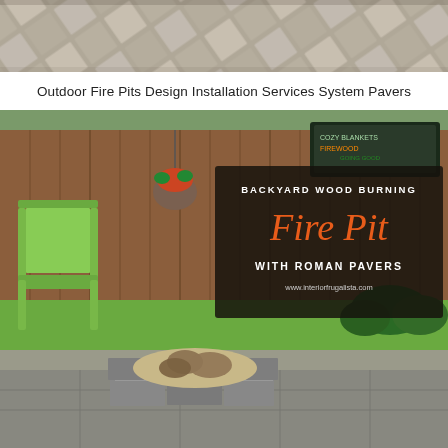[Figure (photo): Top strip photo of stone/concrete pavers arranged in a diagonal pattern, gray tones]
Outdoor Fire Pits Design Installation Services System Pavers
[Figure (photo): Outdoor backyard scene showing a green wooden chair against a wood fence, a circular fire pit made of gray Roman pavers with logs inside, green lawn, and garden shrubs. Overlaid dark text box reads: BACKYARD WOOD BURNING Fire Pit WITH ROMAN PAVERS www.interiorfrugalista.com]
www.interiorfrugalista.com